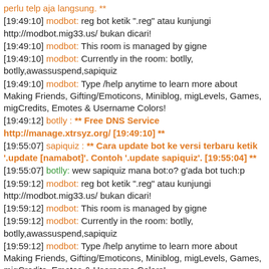perlu telp aja langsung. **
[19:49:10] modbot: reg bot ketik ".reg" atau kunjungi http://modbot.mig33.us/ bukan dicari!
[19:49:10] modbot: This room is managed by gigne
[19:49:10] modbot: Currently in the room: botlly, botlly,awassuspend,sapiquiz
[19:49:10] modbot: Type /help anytime to learn more about Making Friends, Gifting/Emoticons, Miniblog, migLevels, Games, migCredits, Emotes & Username Colors!
[19:49:12] botlly : ** Free DNS Service http://manage.xtrsyz.org/ [19:49:10] **
[19:55:07] sapiquiz : ** Cara update bot ke versi terbaru ketik '.update [namabot]'. Contoh '.update sapiquiz'. [19:55:04] **
[19:55:07] botlly: wew sapiquiz mana bot:o? g'ada bot tuch:p
[19:59:12] modbot: reg bot ketik ".reg" atau kunjungi http://modbot.mig33.us/ bukan dicari!
[19:59:12] modbot: This room is managed by gigne
[19:59:12] modbot: Currently in the room: botlly, botlly,awassuspend,sapiquiz
[19:59:12] modbot: Type /help anytime to learn more about Making Friends, Gifting/Emoticons, Miniblog, migLevels, Games, migCredits, Emotes & Username Colors!